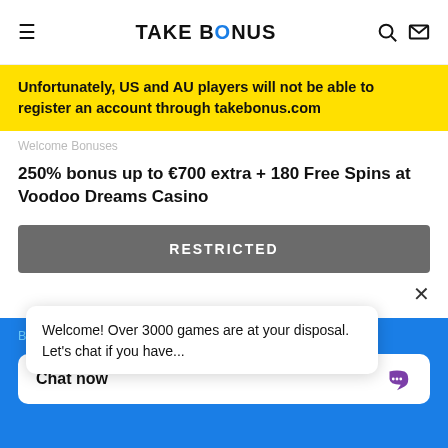TAKE BONUS
Unfortunately, US and AU players will not be able to register an account through takebonus.com
Welcome Bonuses
250% bonus up to €700 extra + 180 Free Spins at Voodoo Dreams Casino
RESTRICTED
Welcome! Over 3000 games are at your disposal. Let's chat if you have...
By clicking any link on this page you are giving your consent
Chat now